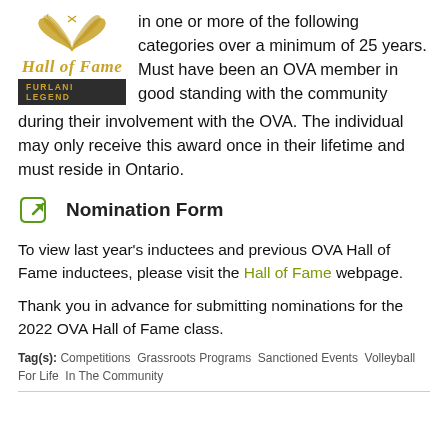[Figure (logo): Hall of Fame Furlani Legend logo with golden laurel wreath and dark badge]
in one or more of the following categories over a minimum of 25 years. Must have been an OVA member in good standing with the community during their involvement with the OVA. The individual may only receive this award once in their lifetime and must reside in Ontario.
Nomination Form
To view last year's inductees and previous OVA Hall of Fame inductees, please visit the Hall of Fame webpage.
Thank you in advance for submitting nominations for the 2022 OVA Hall of Fame class.
Tag(s): Competitions Grassroots Programs Sanctioned Events Volleyball For Life In The Community